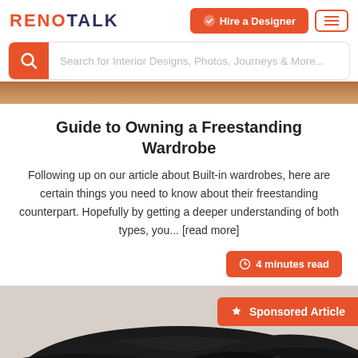RENOTALK
[Figure (screenshot): Search bar with orange search icon and placeholder text 'Search for Interior Designs, Photos, Journeys & More...']
Guide to Owning a Freestanding Wardrobe
Following up on our article about Built-in wardrobes, here are certain things you need to know about their freestanding counterpart. Hopefully by getting a deeper understanding of both types, you... [read more]
4 minutes read
[Figure (photo): Sponsored Article - dark marble table surface photographed against light grey background with orange Sponsored Article badge]